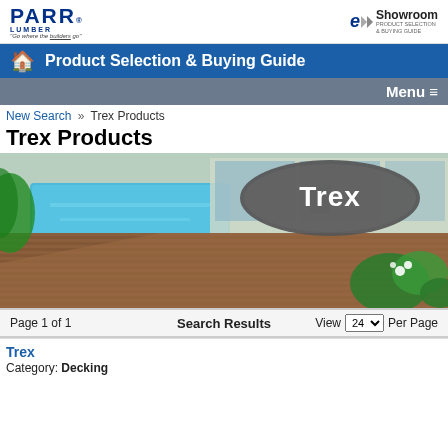PARR LUMBER | eShowroom Product Selection & Buying Guide
Product Selection & Buying Guide
Menu ☰
New Search » Trex Products
Trex Products
[Figure (photo): Trex branded hero image showing a modern home with a composite wood deck surrounding a pool, with lush green plants. Large Trex oval logo overlay in upper right.]
Page 1 of 1    Search Results    View 24 Per Page
Trex
Category: Decking